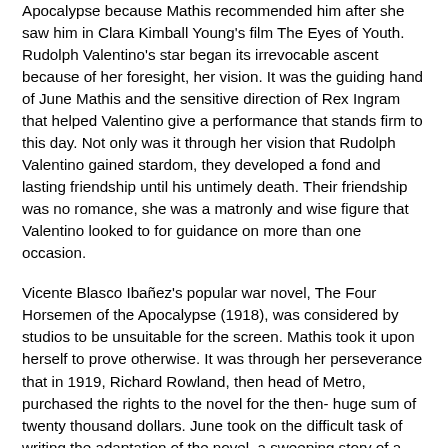Apocalypse because Mathis recommended him after she saw him in Clara Kimball Young's film The Eyes of Youth. Rudolph Valentino's star began its irrevocable ascent because of her foresight, her vision. It was the guiding hand of June Mathis and the sensitive direction of Rex Ingram that helped Valentino give a performance that stands firm to this day. Not only was it through her vision that Rudolph Valentino gained stardom, they developed a fond and lasting friendship until his untimely death. Their friendship was no romance, she was a matronly and wise figure that Valentino looked to for guidance on more than one occasion.
Vicente Blasco Ibañez's popular war novel, The Four Horsemen of the Apocalypse (1918), was considered by studios to be unsuitable for the screen. Mathis took it upon herself to prove otherwise. It was through her perseverance that in 1919, Richard Rowland, then head of Metro, purchased the rights to the novel for the then- huge sum of twenty thousand dollars. June took on the difficult task of writing the adaptation of the novel, a sweeping story of a family, separated and engulfed by the tragedy of World War I. Mathis also exercised her considerable sway in obtaining director Rex Ingram, and his fame for setting the...